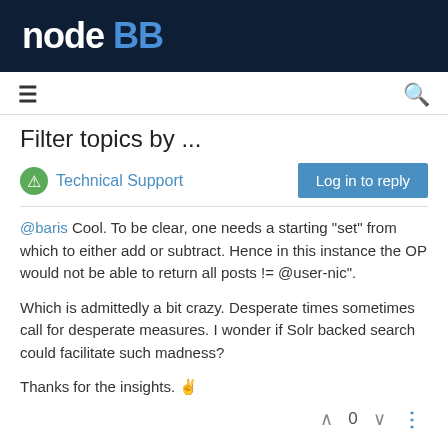nodeBB
Filter topics by ...
Technical Support | Log in to reply
@baris Cool. To be clear, one needs a starting "set" from which to either add or subtract. Hence in this instance the OP would not be able to return all posts != @user-nic".
Which is admittedly a bit crazy. Desperate times sometimes call for desperate measures. I wonder if Solr backed search could facilitate such madness?
Thanks for the insights. ✌